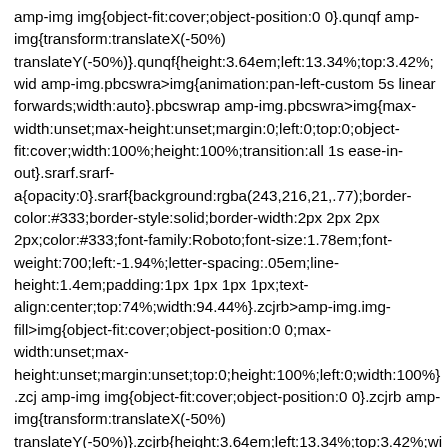amp-img img{object-fit:cover;object-position:0 0}.qunqf amp-img{transform:translateX(-50%) translateY(-50%)}.qunqf{height:3.64em;left:13.34%;top:3.42%;wid amp-img.pbcswra>img{animation:pan-left-custom 5s linear forwards;width:auto}.pbcswrap amp-img.pbcswra>img{max-width:unset;max-height:unset;margin:0;left:0;top:0;object-fit:cover;width:100%;height:100%;transition:all 1s ease-in-out}.srarf.srarf-a{opacity:0}.srarf{background:rgba(243,216,21,.77);border-color:#333;border-style:solid;border-width:2px 2px 2px 2px;color:#333;font-family:Roboto;font-size:1.78em;font-weight:700;left:-1.94%;letter-spacing:.05em;line-height:1.4em;padding:1px 1px 1px 1px;text-align:center;top:74%;width:94.44%}.zcjrb>amp-img.img-fill>img{object-fit:cover;object-position:0 0;max-width:unset;max-height:unset;margin:unset;top:0;height:100%;left:0;width:100%}.zcj amp-img img{object-fit:cover;object-position:0 0}.zcjrb amp-img{transform:translateX(-50%) translateY(-50%)}.zcjrb{height:3.64em;left:13.34%;top:3.42%;widt amp-img.pbcucrp>img{animation:pan-left-custom 5s linear forwards;width:auto}.pbcucrpp amp-img.pbcucrp>img{max-width:unset;max-height:unset;margin:0;left:0;top:0;object-fit:cover;width:100%;height:100%;transition:all 1s ease-in-out}.pcpqg.pcpqg-